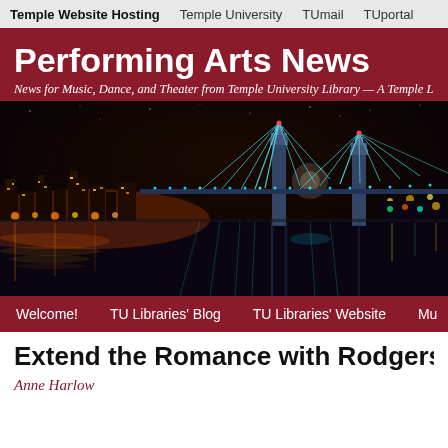Temple Website Hosting   Temple University   TUmail   TUportal
Performing Arts News
News for Music, Dance, and Theater from Temple University Library — A Temple L
[Figure (photo): Night panoramic photograph of Philadelphia skyline and Benjamin Franklin Bridge illuminated with colorful lights reflected on the Delaware River]
Welcome!   TU Libraries' Blog   TU Libraries' Website   Mu
Extend the Romance with Rodgers &
Anne Harlow